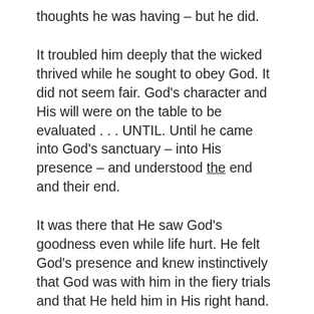thoughts he was having – but he did.
It troubled him deeply that the wicked thrived while he sought to obey God. It did not seem fair. God's character and His will were on the table to be evaluated . . . UNTIL. Until he came into God's sanctuary – into His presence – and understood the end and their end.
It was there that He saw God's goodness even while life hurt. He felt God's presence and knew instinctively that God was with him in the fiery trials and that He held him in His right hand.
As we begin to face all the potential sinful outcomes that traumatic events can wrought into our lives, we begin the process of healing. Are we bitter or angry with God? Let's be honest – our faith is hurt and we often